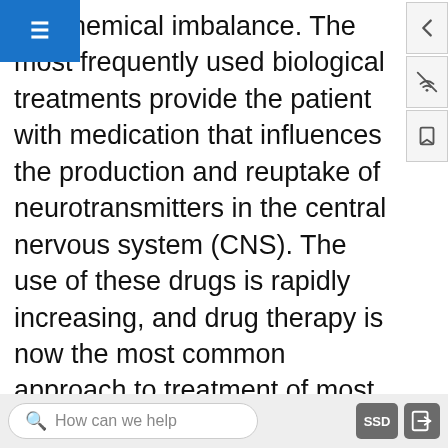a chemical imbalance. The most frequently used biological treatments provide the patient with medication that influences the production and reuptake of neurotransmitters in the central nervous system (CNS). The use of these drugs is rapidly increasing, and drug therapy is now the most common approach to treatment of most psychological disorders.
Unlike some medical therapies that can be targeted toward specific symptoms, current psychological drug therapies are not so specific; they don't change particular behaviors or thought processes, and they don't really solve psychological disorders. However, although they cannot “cure” disorder, drug therapies